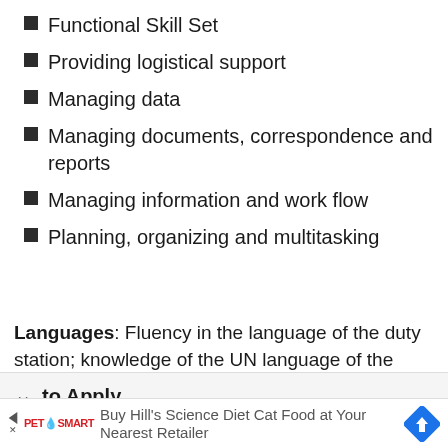Functional Skill Set
Providing logistical support
Managing data
Managing documents, correspondence and reports
Managing information and work flow
Planning, organizing and multitasking
Languages: Fluency in the language of the duty station; knowledge of the UN language of the duty station.
to Apply